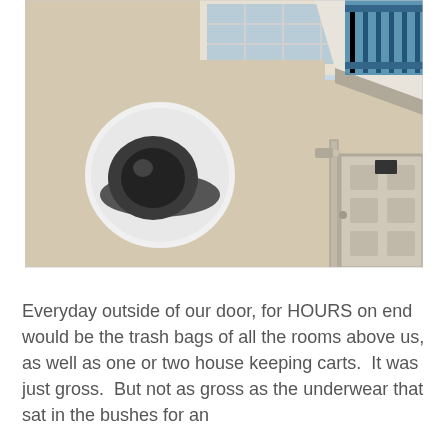[Figure (photo): Upward-angle photograph of the exterior wall of a building showing a round white dome security camera mounted on the beige stucco wall, with a window above it featuring a blue railing, and a door visible to the right side.]
Everyday outside of our door, for HOURS on end would be the trash bags of all the rooms above us, as well as one or two house keeping carts.  It was just gross.  But not as gross as the underwear that sat in the bushes for an